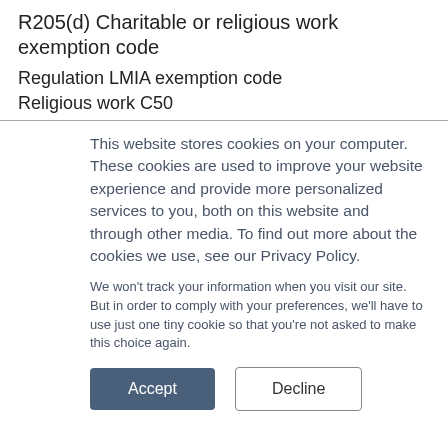R205(d) Charitable or religious work exemption code
Regulation LMIA exemption code
Religious work C50
This website stores cookies on your computer. These cookies are used to improve your website experience and provide more personalized services to you, both on this website and through other media. To find out more about the cookies we use, see our Privacy Policy.
We won't track your information when you visit our site. But in order to comply with your preferences, we'll have to use just one tiny cookie so that you're not asked to make this choice again.